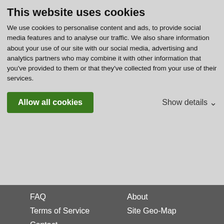This website uses cookies
We use cookies to personalise content and ads, to provide social media features and to analyse our traffic. We also share information about your use of our site with our social media, advertising and analytics partners who may combine it with other information that you've provided to them or that they've collected from your use of their services.
Allow all cookies
Show details
FAQ
About
Terms of Service
Site Geo-Map
Contact
TELL OTHERS ABOUT SP!
[Figure (infographic): Three social sharing buttons: a blue plus/Google+ icon, a blue Facebook icon, and a blue Twitter bird icon]
"Happiness is nothing more than good health and a bad memory."  –Albert Schweitzer
© 2006-2021 SummitPost.org. All Rights Reserved.